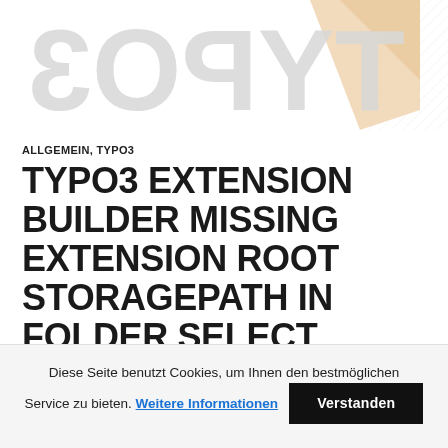[Figure (logo): TYPO3 logo — large mirrored/stylized text 'TYPO3' in light gray with an orange/cream angled geometric shape on the right, on white background]
ALLGEMEIN, TYPO3
TYPO3 EXTENSION BUILDER MISSING EXTENSION ROOT STORAGEPATH IN FOLDER SELECT
28. JANUAR 2022
Diese Seite benutzt Cookies, um Ihnen den bestmöglichen Service zu bieten. Weitere Informationen
Verstanden